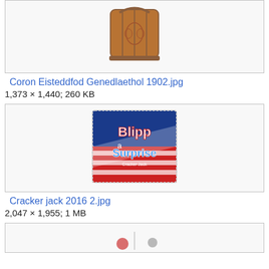[Figure (photo): A decorative metal crown or lantern with ornate engravings, copper/bronze colored, hexagonal shape with a handle on top.]
Coron Eisteddfod Genedlaethol 1902.jpg
1,373 × 1,440; 260 KB
[Figure (photo): A Cracker Jack box with 'Blipp a Surprise' text on a red, white, and blue American flag themed background with a sailor mascot.]
Cracker jack 2016 2.jpg
2,047 × 1,955; 1 MB
[Figure (photo): Partial view of another image at the bottom of the page, cut off.]